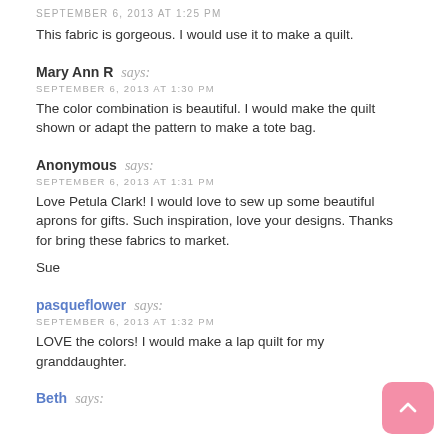SEPTEMBER 6, 2013 AT 1:25 PM
This fabric is gorgeous. I would use it to make a quilt.
Mary Ann R says:
SEPTEMBER 6, 2013 AT 1:30 PM
The color combination is beautiful. I would make the quilt shown or adapt the pattern to make a tote bag.
Anonymous says:
SEPTEMBER 6, 2013 AT 1:31 PM
Love Petula Clark! I would love to sew up some beautiful aprons for gifts. Such inspiration, love your designs. Thanks for bring these fabrics to market.

Sue
pasqueflower says:
SEPTEMBER 6, 2013 AT 1:32 PM
LOVE the colors! I would make a lap quilt for my granddaughter.
Beth says: